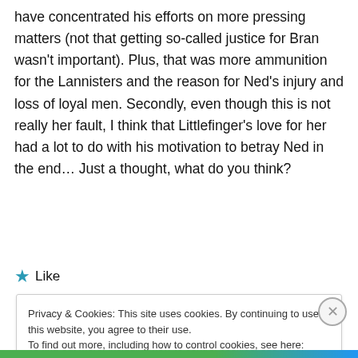have concentrated his efforts on more pressing matters (not that getting so-called justice for Bran wasn't important). Plus, that was more ammunition for the Lannisters and the reason for Ned's injury and loss of loyal men. Secondly, even though this is not really her fault, I think that Littlefinger's love for her had a lot to do with his motivation to betray Ned in the end… Just a thought, what do you think?
★ Like
Privacy & Cookies: This site uses cookies. By continuing to use this website, you agree to their use.
To find out more, including how to control cookies, see here: Cookie Policy